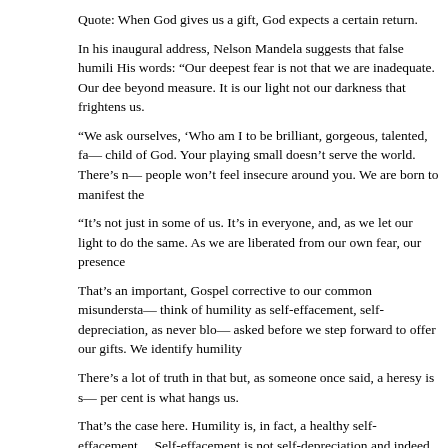Quote: When God gives us a gift, God expects a certain return.
In his inaugural address, Nelson Mandela suggests that false humility is a problem. His words: “Our deepest fear is not that we are inadequate. Our deepest fear is that we are powerful beyond measure. It is our light not our darkness that frightens us.
“We ask ourselves, ‘Who am I to be brilliant, gorgeous, talented, fabulous?’ Actually, who are you not to be? You are a child of God. Your playing small doesn’t serve the world. There’s nothing enlightened about shrinking so that other people won’t feel insecure around you. We are born to manifest the
“It’s not just in some of us. It’s in everyone, and, as we let our light shine, we unconsciously give other people permission to do the same. As we are liberated from our own fear, our presence
That’s an important, Gospel corrective to our common misunderstanding of humility. We commonly think of humility as self-effacement, self-depreciation, as never blowing our own horn, as always waiting to be asked before we step forward to offer our gifts. We identify humility
There’s a lot of truth in that but, as someone once said, a heresy is sometimes a half-truth and that other fifty per cent is what hangs us.
That’s the case here. Humility is, in fact, a healthy self-effacement but it’s not self-depreciation. Self-effacement is not self-depreciation and indeed there’s nothing wrong if other people won’t feel insecure around you. Why not?
Because our gifts and talents are meant to help others, just as their gifts are meant to help us. Hiding our light under a bushel basket serves no one – others, God, ourselves. That’s precisely why God gives us gifts and talents.
When God gives us a gift, God expects a certain return. To hide our gifts is both an insult to our self and not very pleasing to the one who gave those gifts.